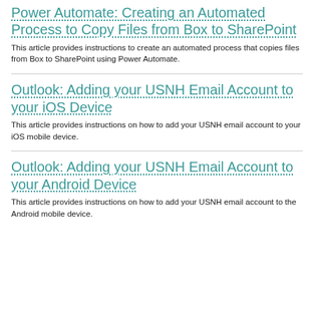Power Automate: Creating an Automated Process to Copy Files from Box to SharePoint
This article provides instructions to create an automated process that copies files from Box to SharePoint using Power Automate.
Outlook: Adding your USNH Email Account to your iOS Device
This article provides instructions on how to add your USNH email account to your iOS mobile device.
Outlook: Adding your USNH Email Account to your Android Device
This article provides instructions on how to add your USNH email account to the Android mobile device.